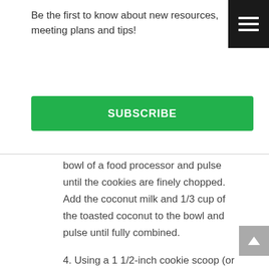Be the first to know about new resources, meeting plans and tips!
SUBSCRIBE
bowl of a food processor and pulse until the cookies are finely chopped. Add the coconut milk and 1/3 cup of the toasted coconut to the bowl and pulse until fully combined.
4. Using a 1 1/2-inch cookie scoop (or a large melon-baller) portion the truffle filling onto a parchment-lined baking tray and once all the filling has been scooped, refrigerate for at least 30 minutes.
5. Once the truffle filling has firmed-up, remove